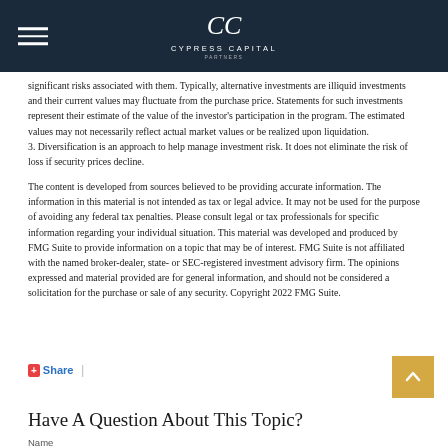Cypress Capital
significant risks associated with them. Typically, alternative investments are illiquid investments and their current values may fluctuate from the purchase price. Statements for such investments represent their estimate of the value of the investor's participation in the program. The estimated values may not necessarily reflect actual market values or be realized upon liquidation.
3. Diversification is an approach to help manage investment risk. It does not eliminate the risk of loss if security prices decline.
The content is developed from sources believed to be providing accurate information. The information in this material is not intended as tax or legal advice. It may not be used for the purpose of avoiding any federal tax penalties. Please consult legal or tax professionals for specific information regarding your individual situation. This material was developed and produced by FMG Suite to provide information on a topic that may be of interest. FMG Suite is not affiliated with the named broker-dealer, state- or SEC-registered investment advisory firm. The opinions expressed and material provided are for general information, and should not be considered a solicitation for the purchase or sale of any security. Copyright 2022 FMG Suite.
Share |
Have A Question About This Topic?
Name